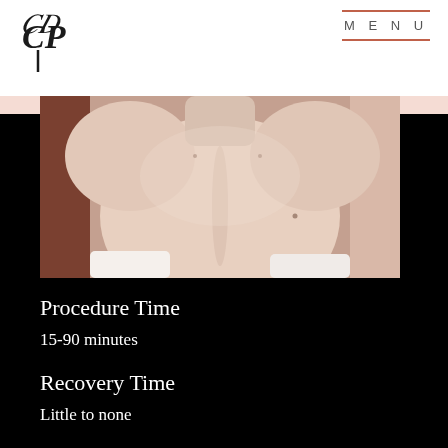CP | MENU
[Figure (photo): Close-up photo of a person's bare upper back/shoulder area from behind, skin-tone, warm lighting]
Procedure Time
15-90 minutes
Recovery Time
Little to none